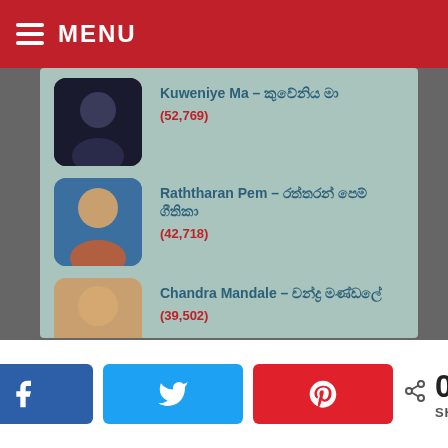MENU
Kuweniye Ma – කුවේනිය මා (52,769)
Raththaran Pem – රත්තරන් පෙම් ගීතිකා (42,718)
Chandra Mandale – චන්ද්‍ර මණ්ඩලේ (39,502)
Api Hangum Walata – අපි හැංගුම් වලට (31,870)
Mihirathi Wasantha Kale- මිහිරාතී (30,719)
0 SHARES